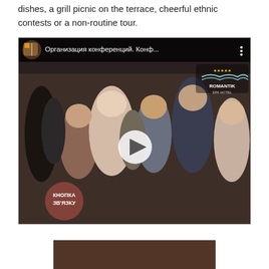dishes, a grill picnic on the terrace, cheerful ethnic contests or a non-routine tour.
[Figure (screenshot): YouTube-style embedded video player showing a conference/event scene with people applauding in a hall. Top bar shows a circular thumbnail and Russian title 'Организация конференций. Конф...' with a three-dot menu. A play button is centered. Romantik Spa Hotel logo is in the top-right corner of the video. A brownish circular 'КНОПКА ЗВ'ЯЗКУ' (contact button) is at the bottom-left of the video.]
[Figure (photo): Partial view of a brown/dark image at the bottom of the page.]